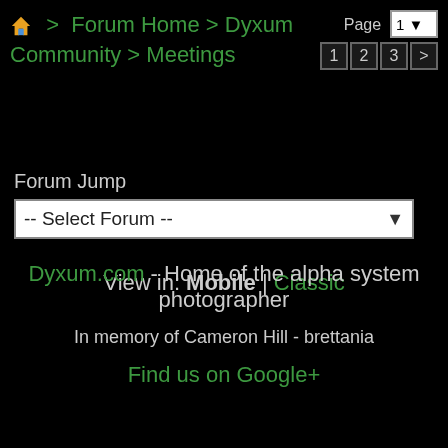🏠 > Forum Home > Dyxum Community > Meetings  Page 1  1 2 3 >
Forum Jump
-- Select Forum --
View in: Mobile | Classic
Dyxum.com - Home of the alpha system photographer
In memory of Cameron Hill - brettania
Find us on Google+